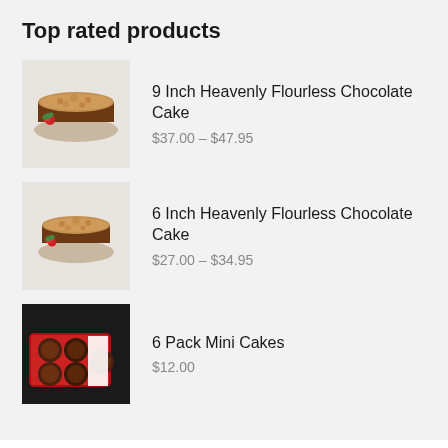Top rated products
9 Inch Heavenly Flourless Chocolate Cake $37.00 – $47.95
6 Inch Heavenly Flourless Chocolate Cake $27.00 – $34.95
6 Pack Mini Cakes $12.00
Any questions? Contact us!
Name *